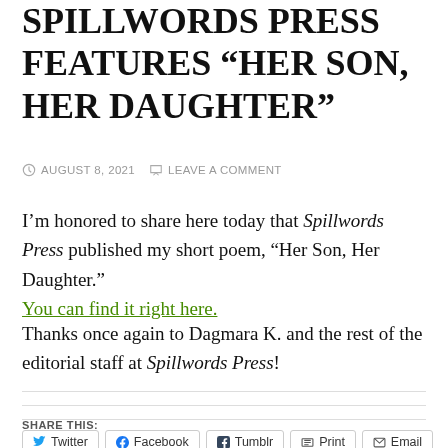SPILLWORDS PRESS FEATURES “HER SON, HER DAUGHTER”
August 8, 2021 · Leave a Comment
I’m honored to share here today that Spillwords Press published my short poem, “Her Son, Her Daughter.” You can find it right here.
Thanks once again to Dagmara K. and the rest of the editorial staff at Spillwords Press!
SHARE THIS:
Twitter | Facebook | Tumblr | Print | Email